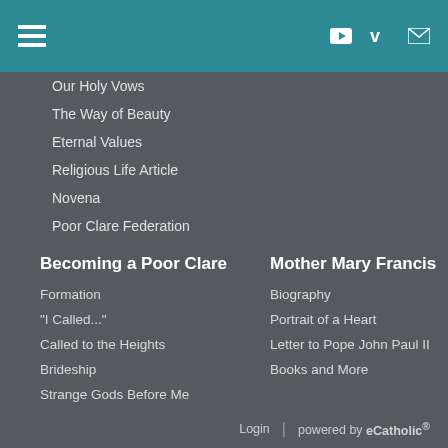Navigation header with hamburger menu, YouTube icon, Vimeo icon, email icon
Our Holy Vows
The Way of Beauty
Eternal Values
Religious Life Article
Novena
Poor Clare Federation
Becoming a Poor Clare
Mother Mary Francis
Formation
Biography
"I Called..."
Portrait of a Heart
Called to the Heights
Letter to Pope John Paul II
Brideship
Books and More
Strange Gods Before Me
Vocations Mañana
Other Resources
Login | powered by eCatholic®